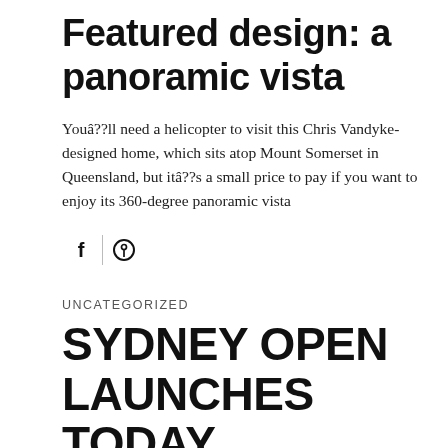Featured design: a panoramic vista
Youâ??ll need a helicopter to visit this Chris Vandyke-designed home, which sits atop Mount Somerset in Queensland, but itâ??s a small price to pay if you want to enjoy its 360-degree panoramic vista
[Figure (illustration): Social sharing icons: Facebook (f) and Pinterest (P) with a vertical divider between them]
UNCATEGORIZED
SYDNEY OPEN LAUNCHES TODAY
Have you ever wanted to know more about Sydney's built environment by actually going inside